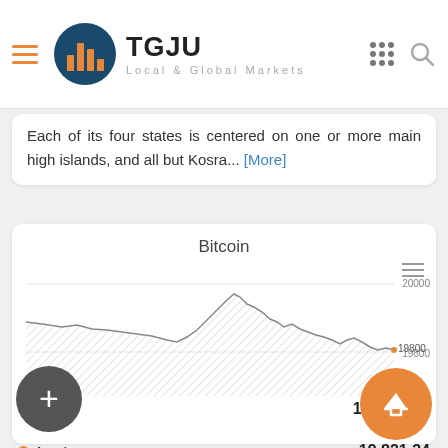TGJU — Local & Global Markets
Each of its four states is centered on one or more main high islands, and all but Kosra... [More]
[Figure (area-chart): Bitcoin price area chart showing price range approximately 19600–20000, with a peak around 5. Sep. Y-axis labels: 20000, 19800, 19600. X-axis labels: 20:00, 22:00, 5. Sep, 02:00, 04:00. Last value annotated on chart: 19800.]
Last : 19,821.34
Low : 19,814.66